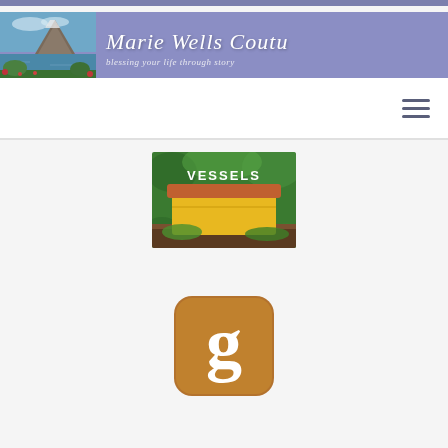Marie Wells Coutu — blessing your life through story
[Figure (screenshot): VESSELS book/product image showing yellow rectangular container with text 'VESSELS' on green background with natural elements]
[Figure (logo): Goodreads app icon — brown/orange rounded square with white lowercase letter g]